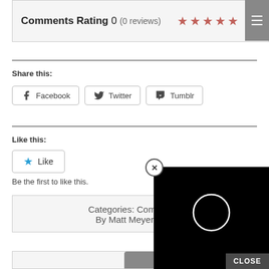Comments Rating 0 (0 reviews)
[Figure (other): Five pink/red star rating icons]
Share this:
[Figure (other): Facebook, Twitter, Tumblr share buttons]
Like this:
[Figure (other): Like button with blue star icon]
Be the first to like this.
Categories: Comic Boo... By Matt Meyer • No...
[Figure (other): Black video overlay panel with circular loading icon and CLOSE button]